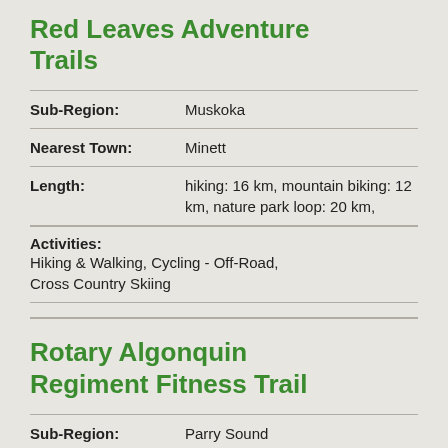Red Leaves Adventure Trails
| Sub-Region: | Muskoka |
| Nearest Town: | Minett |
| Length: | hiking: 16 km, mountain biking: 12 km, nature park loop: 20 km, |
Activities:
Hiking & Walking, Cycling - Off-Road, Cross Country Skiing
Rotary Algonquin Regiment Fitness Trail
| Sub-Region: | Parry Sound |